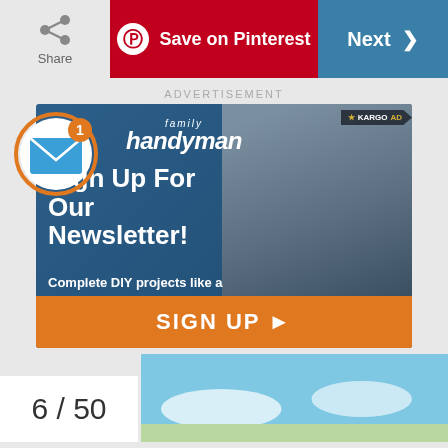Share | Save on Pinterest | Next
ADVERTISEMENT
[Figure (infographic): Family Handyman newsletter sign-up advertisement. Shows a man in work apron leaning against a bookshelf. Text: 'Sign Up For Our Newsletter! Complete DIY projects like a pro. SIGN UP ▶'. Email notification icon with badge '1' overlaid. Kargo AD badge in top right corner.]
6 / 50
[Figure (photo): Partial sky and landscape photo at bottom of page, blue sky with clouds.]